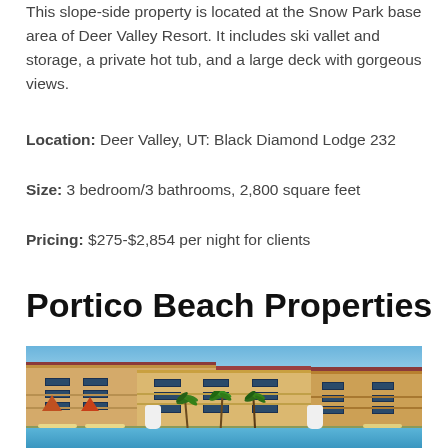This slope-side property is located at the Snow Park base area of Deer Valley Resort. It includes ski vallet and storage, a private hot tub, and a large deck with gorgeous views.
Location: Deer Valley, UT: Black Diamond Lodge 232
Size: 3 bedroom/3 bathrooms, 2,800 square feet
Pricing: $275-$2,854 per night for clients
Portico Beach Properties
[Figure (photo): Exterior photo of a luxury Mediterranean-style beachside resort building with multiple stories, balconies, red tile roofs, palm trees in the foreground, and a pool in the front.]